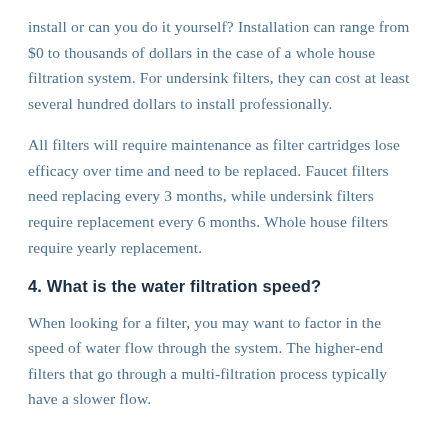install or can you do it yourself? Installation can range from $0 to thousands of dollars in the case of a whole house filtration system. For undersink filters, they can cost at least several hundred dollars to install professionally.
All filters will require maintenance as filter cartridges lose efficacy over time and need to be replaced. Faucet filters need replacing every 3 months, while undersink filters require replacement every 6 months. Whole house filters require yearly replacement.
4. What is the water filtration speed?
When looking for a filter, you may want to factor in the speed of water flow through the system. The higher-end filters that go through a multi-filtration process typically have a slower flow.